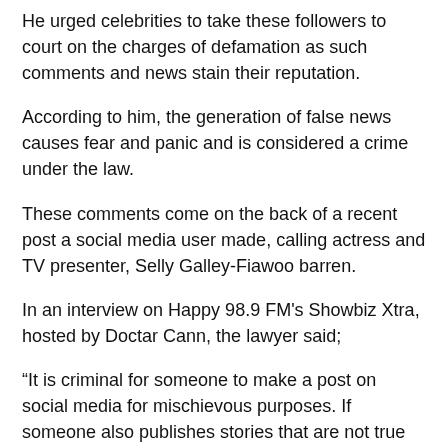He urged celebrities to take these followers to court on the charges of defamation as such comments and news stain their reputation.
According to him, the generation of false news causes fear and panic and is considered a crime under the law.
These comments come on the back of a recent post a social media user made, calling actress and TV presenter, Selly Galley-Fiawoo barren.
In an interview on Happy 98.9 FM's Showbiz Xtra, hosted by Doctar Cann, the lawyer said;
“It is criminal for someone to make a post on social media for mischievous purposes. If someone also publishes stories that are not true about you, you can sue the person for defamation.
He indicated that making a post on social media is equal to making a publication which meets the conditions for defamation. “Social media